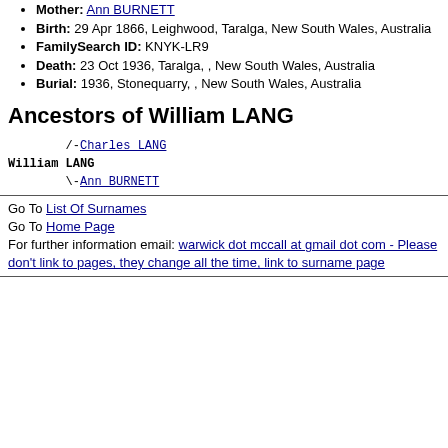Mother: Ann BURNETT
Birth: 29 Apr 1866, Leighwood, Taralga, New South Wales, Australia
FamilySearch ID: KNYK-LR9
Death: 23 Oct 1936, Taralga, , New South Wales, Australia
Burial: 1936, Stonequarry, , New South Wales, Australia
Ancestors of William LANG
/-Charles LANG
William LANG
\-Ann BURNETT
Go To List Of Surnames
Go To Home Page
For further information email: warwick dot mccall at gmail dot com - Please don't link to pages, they change all the time, link to surname page